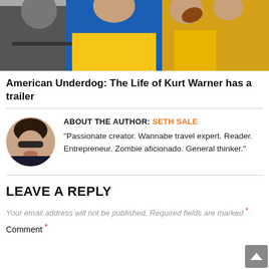[Figure (photo): Banner photo showing people wearing blue and yellow sports uniforms/clothing, appears to be football-related scene]
American Underdog: The Life of Kurt Warner has a trailer
ABOUT THE AUTHOR: SETH SALE
"Passionate creator. Wannabe travel expert. Reader. Entrepreneur. Zombie aficionado. General thinker."
LEAVE A REPLY
Your email address will not be published. Required fields are marked *
Comment *